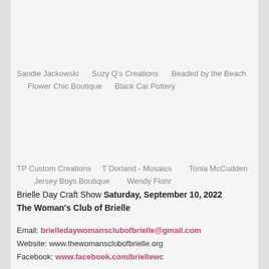Sandie Jackowski      Suzy Q's Creations      Beaded by the Beach      Flower Chic Boutique      Black Cat Pottery
TP Custom Creations     T Dorland - Mosaics       Tonia McCudden         Jersey Boys Boutique         Wendy Flohr
Brielle Day Craft Show  Saturday, September 10, 2022
The Woman's Club of Brielle
Email: brielledaywomansclubofbrielle@gmail.com
Website: www.thewomansclubofbrielle.org
Facebook: www.facebook.com/briellewc